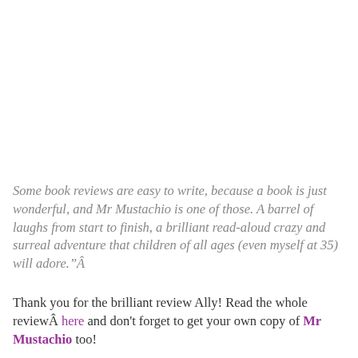Some book reviews are easy to write, because a book is just wonderful, and Mr Mustachio is one of those. A barrel of laughs from start to finish, a brilliant read-aloud crazy and surreal adventure that children of all ages (even myself at 35) will adore.”Â
Thank you for the brilliant review Ally! Read the whole reviewÂ here and don't forget to get your own copy of Mr Mustachio too!